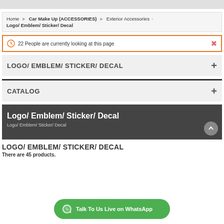Home > Car Make Up (ACCESSORIES) > Exterior Accessories > Logo/ Emblem/ Sticker/ Decal
22 People are currently looking at this page
LOGO/ EMBLEM/ STICKER/ DECAL
CATALOG
Logo/ Emblem/ Sticker/ Decal
Logo/ Emblem/ Sticker/ Decal
LOGO/ EMBLEM/ STICKER/ DECAL
There are 45 products.